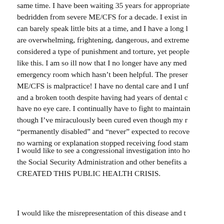same time. I have been waiting 35 years for appropriate bedridden from severe ME/CFS for a decade. I exist in can barely speak little bits at a time, and I have a long l are overwhelming, frightening, dangerous, and extreme considered a type of punishment and torture, yet people like this. I am so ill now that I no longer have any med emergency room which hasn’t been helpful. The preser ME/CFS is malpractice! I have no dental care and I unf and a broken tooth despite having had years of dental c have no eye care. I continually have to fight to maintain though I’ve miraculously been cured even though my r “permanently disabled” and “never” expected to recove no warning or explanation stopped receiving food stam
I would like to see a congressional investigation into ho the Social Security Administration and other benefits a CREATED THIS PUBLIC HEALTH CRISIS.
I would like the misrepresentation of this disease and t